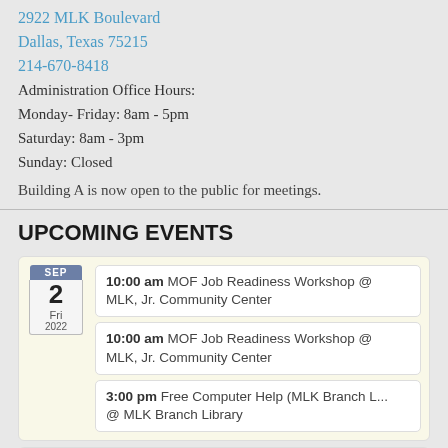2922 MLK Boulevard
Dallas, Texas 75215
214-670-8418
Administration Office Hours:
Monday- Friday: 8am - 5pm
Saturday: 8am - 3pm
Sunday: Closed
Building A is now open to the public for meetings.
UPCOMING EVENTS
SEP 2 Fri 2022 — 10:00 am MOF Job Readiness Workshop @ MLK, Jr. Community Center
SEP 2 Fri 2022 — 10:00 am MOF Job Readiness Workshop @ MLK, Jr. Community Center
SEP 2 Fri 2022 — 3:00 pm Free Computer Help (MLK Branch L... @ MLK Branch Library
SEP — 9:00 am MLK Fresh Produce Distribution @